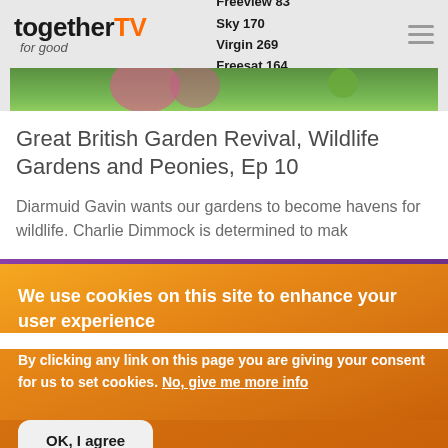together TV for good | Freeview 83 Sky 170 Virgin 269 Freesat 164
[Figure (photo): Partial garden photo showing green grass and pink flowers at the top]
Great British Garden Revival, Wildlife Gardens and Peonies, Ep 10
Diarmuid Gavin wants our gardens to become havens for wildlife. Charlie Dimmock is determined to mak
We use cookies on this site to enhance your user experience
By clicking any link on this page you are giving your consent for us to set cookies. No, give me more info
OK, I agree